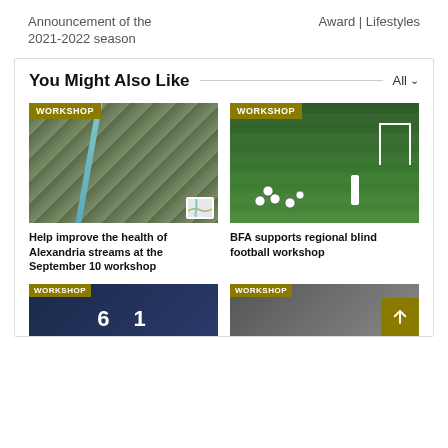Announcement of the 2021-2022 season
Award | Lifestyles
You Might Also Like
[Figure (photo): Aerial satellite view of Alexandria streams area with WORKSHOP badge]
[Figure (photo): BFA blind football workshop photo with players on grass field with WORKSHOP badge]
Help improve the health of Alexandria streams at the September 10 workshop
BFA supports regional blind football workshop
[Figure (photo): Bottom left card with WORKSHOP badge and numbers 6 1]
[Figure (photo): Bottom right card with WORKSHOP badge]